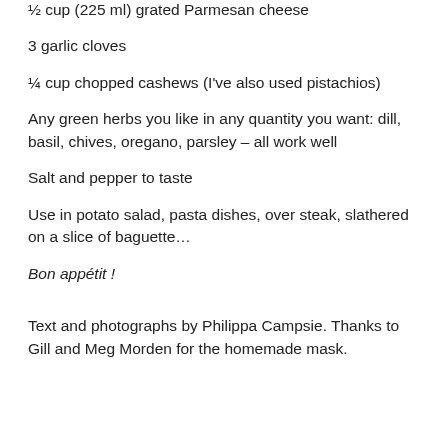½ cup (225 ml) grated Parmesan cheese
3 garlic cloves
¼ cup chopped cashews (I've also used pistachios)
Any green herbs you like in any quantity you want: dill, basil, chives, oregano, parsley – all work well
Salt and pepper to taste
Use in potato salad, pasta dishes, over steak, slathered on a slice of baguette…
Bon appétit !
Text and photographs by Philippa Campsie. Thanks to Gill and Meg Morden for the homemade mask.